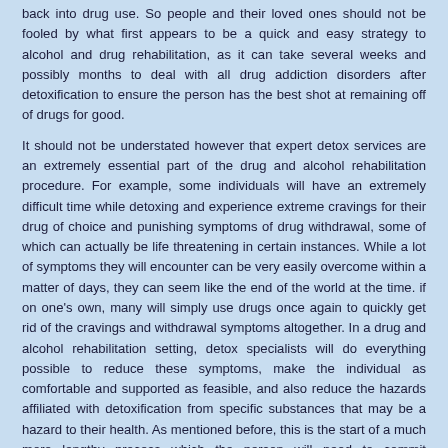back into drug use. So people and their loved ones should not be fooled by what first appears to be a quick and easy strategy to alcohol and drug rehabilitation, as it can take several weeks and possibly months to deal with all drug addiction disorders after detoxification to ensure the person has the best shot at remaining off of drugs for good.
It should not be understated however that expert detox services are an extremely essential part of the drug and alcohol rehabilitation procedure. For example, some individuals will have an extremely difficult time while detoxing and experience extreme cravings for their drug of choice and punishing symptoms of drug withdrawal, some of which can actually be life threatening in certain instances. While a lot of symptoms they will encounter can be very easily overcome within a matter of days, they can seem like the end of the world at the time. if on one's own, many will simply use drugs once again to quickly get rid of the cravings and withdrawal symptoms altogether. In a drug and alcohol rehabilitation setting, detox specialists will do everything possible to reduce these symptoms, make the individual as comfortable and supported as feasible, and also reduce the hazards affiliated with detoxification from specific substances that may be a hazard to their health. As mentioned before, this is the start of a much more lengthy process which the person will need to commit themselves to, so that they can be truly rehabilitated in drug treatment.
The procedure of rehabilitation entails a lot more than merely successfully abstaining from drugs or alcohol, as many years and stats have proven. Soon after one successfully detoxes, a significant amount of time is required in therapy and through the utilization of other established rehabilitation strategies to reveal and resolve the true causes of their addiction. When these issues are resolved, this in fact handles the factors the individual used drugs and alcohol in the first